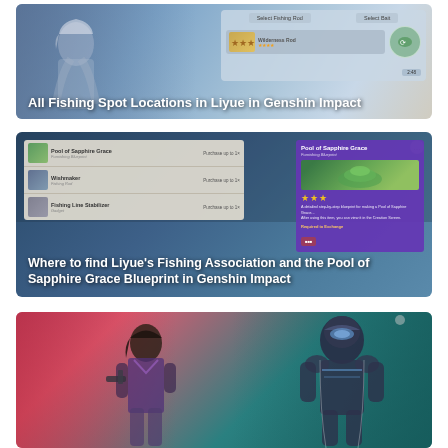[Figure (screenshot): Genshin Impact fishing UI screenshot showing 'Select Fishing Rod' and 'Select Bait' menus with a character in background]
All Fishing Spot Locations in Liyue in Genshin Impact
[Figure (screenshot): Genshin Impact shop UI showing Pool of Sapphire Grace (Furnishing Blueprint), Wishmaker (Fishing Rod), and Fishing Line Stabilizer (Gadget) items with detail panel showing Pool of Sapphire Grace description]
Where to find Liyue's Fishing Association and the Pool of Sapphire Grace Blueprint in Genshin Impact
[Figure (screenshot): Valorant characters screenshot showing two agents against a pink and teal background]